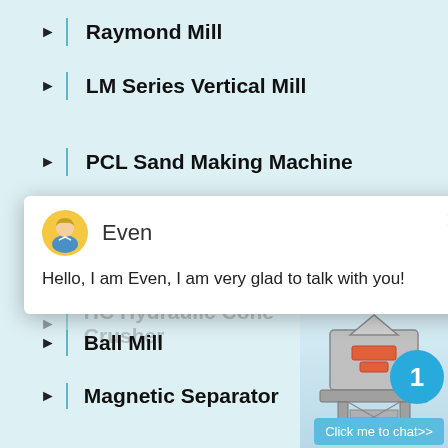Raymond Mill
LM Series Vertical Mill
PCL Sand Making Machine
VSI5X Impact Crusher
[Figure (screenshot): Chat popup with avatar labeled 'Even' and message 'Hello, I am Even, I am very glad to talk with you!']
HC Hydraulic Cone Crusher
Ball Mill
Magnetic Separator
Flotation Machinery
Spiral chute
rock crusher for sale in spain
[Figure (photo): Industrial machine photo on right side panel with notification badge showing '1' and 'Click me to chat>>' button]
Enquiry